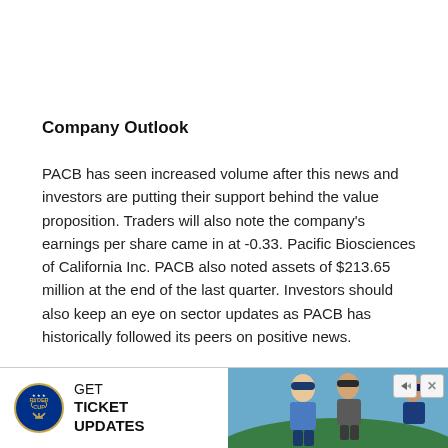Company Outlook
PACB has seen increased volume after this news and investors are putting their support behind the value proposition. Traders will also note the company's earnings per share came in at -0.33. Pacific Biosciences of California Inc. PACB also noted assets of $213.65 million at the end of the last quarter. Investors should also keep an eye on sector updates as PACB has historically followed its peers on positive news.
[Figure (other): Advertisement banner for Ryder Cup ticket updates, featuring a logo and photo of golfers]